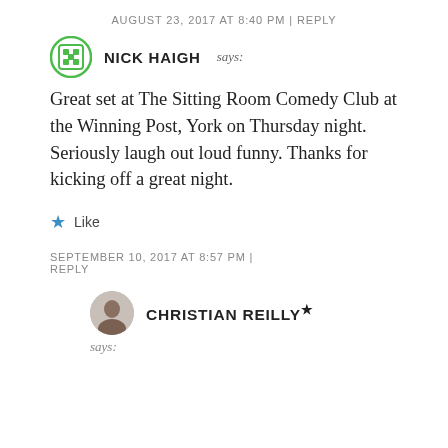AUGUST 23, 2017 AT 8:40 PM | REPLY
NICK HAIGH says:
Great set at The Sitting Room Comedy Club at the Winning Post, York on Thursday night. Seriously laugh out loud funny. Thanks for kicking off a great night.
★ Like
SEPTEMBER 10, 2017 AT 8:57 PM | REPLY
CHRISTIAN REILLY* says: